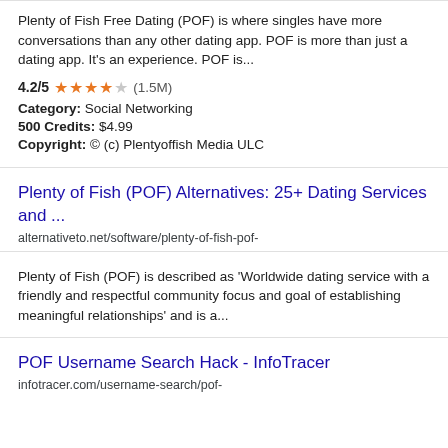Plenty of Fish Free Dating (POF) is where singles have more conversations than any other dating app. POF is more than just a dating app. It's an experience. POF is...
4.2/5 ★★★★☆ (1.5M)
Category: Social Networking
500 Credits: $4.99
Copyright: © (c) Plentyoffish Media ULC
Plenty of Fish (POF) Alternatives: 25+ Dating Services and ...
alternativeto.net/software/plenty-of-fish-pof-
Plenty of Fish (POF) is described as 'Worldwide dating service with a friendly and respectful community focus and goal of establishing meaningful relationships' and is a...
POF Username Search Hack - InfoTracer
infotracer.com/username-search/pof-